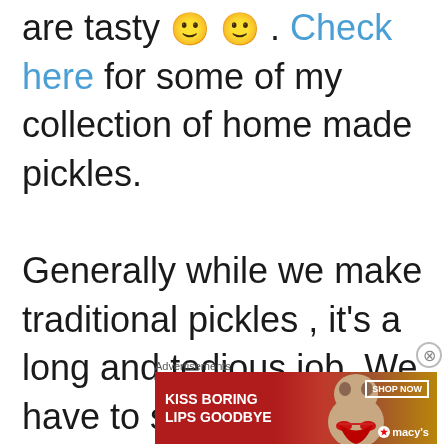are tasty 🙂 🙂 . Check here for some of my collection of home made pickles.

Generally while we make traditional pickles , it's a long and tedious job. We have to soak , dry and then mix.
In this method we will just
[Figure (photo): Advertisement banner for Macy's lipstick product with text KISS BORING LIPS GOODBYE and SHOP NOW button, featuring a woman's face with red lips]
Advertisements